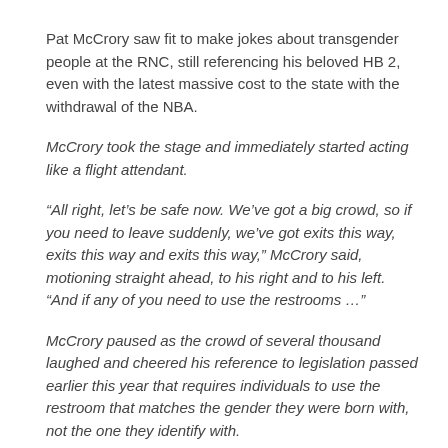Pat McCrory saw fit to make jokes about transgender people at the RNC, still referencing his beloved HB 2, even with the latest massive cost to the state with the withdrawal of the NBA.
McCrory took the stage and immediately started acting like a flight attendant.
“All right, let’s be safe now. We’ve got a big crowd, so if you need to leave suddenly, we’ve got exits this way, exits this way and exits this way,” McCrory said, motioning straight ahead, to his right and to his left. “And if any of you need to use the restrooms …”
McCrory paused as the crowd of several thousand laughed and cheered his reference to legislation passed earlier this year that requires individuals to use the restroom that matches the gender they were born with, not the one they identify with.
[...]
As Politico reported, the backlash [to HB 2] reached the Democratic National Convention in Philadelphia on Monday, where an executive with the Raleigh-based company Citrix, Jesse Lipson, accused